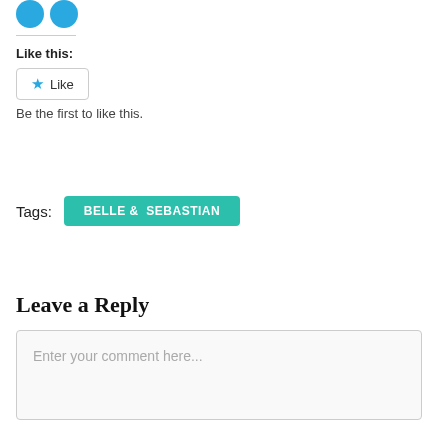[Figure (other): Two blue circular social media share icons at the top left]
Like this:
[Figure (other): Like button with a blue star icon and the word Like, inside a rounded rectangle border]
Be the first to like this.
Tags:  BELLE &  SEBASTIAN
Leave a Reply
Enter your comment here...